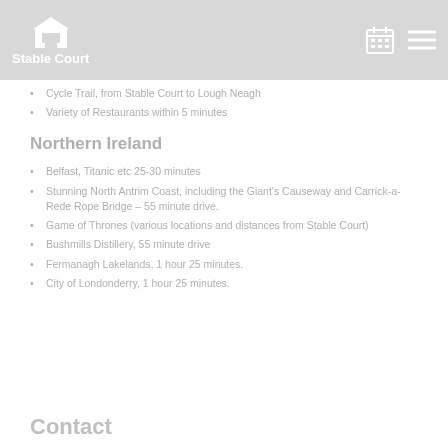Stable Court
Cycle Trail, from Stable Court to Lough Neagh
Variety of Restaurants within 5 minutes
Northern Ireland
Belfast, Titanic etc 25-30 minutes
Stunning North Antrim Coast, including the Giant's Causeway and Carrick-a-Rede Rope Bridge  – 55 minute drive.
Game of Thrones (various locations and distances from Stable Court)
Bushmills Distillery, 55 minute drive
Fermanagh Lakelands, 1 hour 25 minutes.
City of Londonderry, 1 hour 25 minutes.
Contact